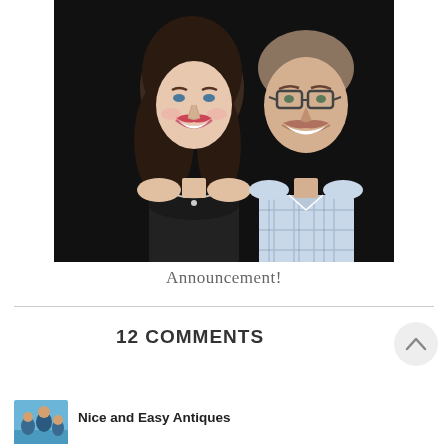[Figure (photo): A smiling couple portrait against a dark background. The woman on the left has long brown wavy hair and is wearing a dark sparkly top with a necklace. The man on the right is wearing glasses and a light blue plaid shirt. Both are smiling at the camera.]
Announcement!
12 COMMENTS
Nice and Easy Antiques